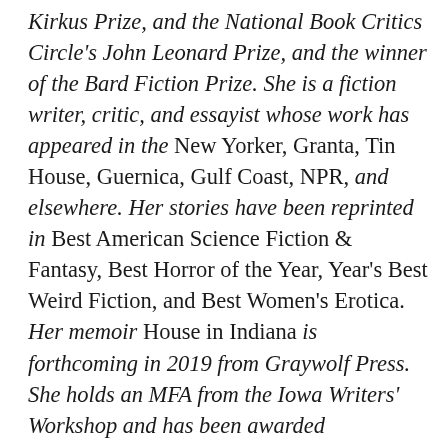Kirkus Prize, and the National Book Critics Circle's John Leonard Prize, and the winner of the Bard Fiction Prize. She is a fiction writer, critic, and essayist whose work has appeared in the New Yorker, Granta, Tin House, Guernica, Gulf Coast, NPR, and elsewhere. Her stories have been reprinted in Best American Science Fiction & Fantasy, Best Horror of the Year, Year's Best Weird Fiction, and Best Women's Erotica. Her memoir House in Indiana is forthcoming in 2019 from Graywolf Press. She holds an MFA from the Iowa Writers' Workshop and has been awarded fellowships and residencies from the Michener-Copernicus Foundation, the Elizabeth George Foundation, the CINTAS Foundation, the Speculative Literature Foundation, the Clarion Science Fiction &